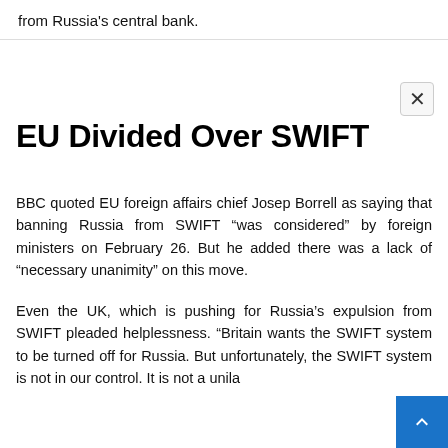from Russia's central bank.
EU Divided Over SWIFT
BBC quoted EU foreign affairs chief Josep Borrell as saying that banning Russia from SWIFT “was considered” by foreign ministers on February 26. But he added there was a lack of “necessary unanimity” on this move.
Even the UK, which is pushing for Russia’s expulsion from SWIFT pleaded helplessness. “Britain wants the SWIFT system to be turned off for Russia. But unfortunately, the SWIFT system is not in our control. It is not a unila